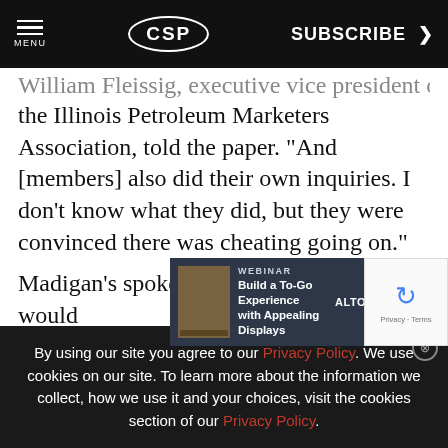MENU | CSP | SUBSCRIBE >
William Fleissig, executive vice president of the Illinois Petroleum Marketers Association, told the paper. "And [members] also did their own inquiries. I don't know what they did, but they were convinced there was cheating going on."
Madigan's spokesperson, Natalie Bauer, sa... would... station... brding
[Figure (other): Webinar advertisement: Build a To-Go Experience with Appealing Displays by Alto-Shaam]
By using our site you agree to our Privacy Policy. We use cookies on our site. To learn more about the information we collect, how we use it and your choices, visit the cookies section of our Privacy Policy.